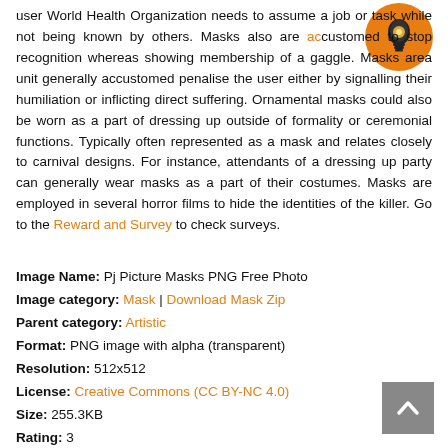user World Health Organization needs to assume a job or task while not being known by others. Masks also are accustomed to stop recognition whereas showing membership of a gaggle. Masks area unit generally accustomed penalise the user either by signalling their humiliation or inflicting direct suffering. Ornamental masks could also be worn as a part of dressing up outside of formality or ceremonial functions. Typically often represented as a mask and relates closely to carnival designs. For instance, attendants of a dressing up party can generally wear masks as a part of their costumes. Masks are employed in several horror films to hide the identities of the killer. Go to the Reward and Survey to check surveys.
[Figure (illustration): Orange circular icon with a lightbulb symbol in the center]
Image Name: Pj Picture Masks PNG Free Photo
Image category: Mask | Download Mask Zip
Parent category: Artistic
Format: PNG image with alpha (transparent)
Resolution: 512x512
License: Creative Commons (CC BY-NC 4.0)
Size: 255.3KB
Rating: 3
Views: 129